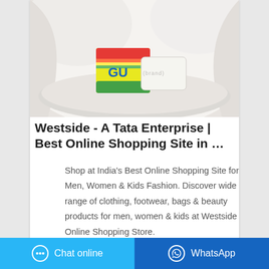[Figure (photo): Product photo showing soap bars on a white cloth background. A colorful packaged soap (red/yellow/green packaging with 'GU' visible) and a plain white soap bar are displayed on white fabric.]
Westside - A Tata Enterprise | Best Online Shopping Site in …
Shop at India's Best Online Shopping Site for Men, Women & Kids Fashion. Discover wide range of clothing, footwear, bags & beauty products for men, women & kids at Westside Online Shopping Store.
Chat online   WhatsApp